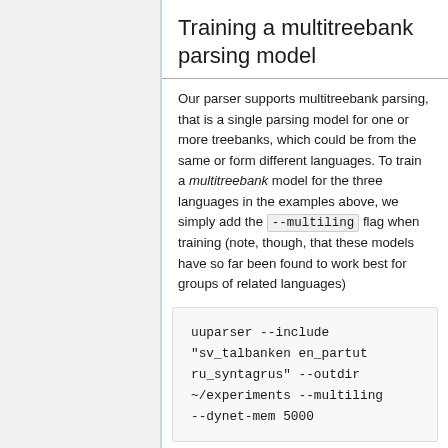Training a multitreebank parsing model
Our parser supports multitreebank parsing, that is a single parsing model for one or more treebanks, which could be from the same or form different languages. To train a multitreebank model for the three languages in the examples above, we simply add the --multiling flag when training (note, though, that these models have so far been found to work best for groups of related languages)
uuparser --include "sv_talbanken en_partut ru_syntagrus" --outdir ~/experiments --multiling --dynet-mem 5000